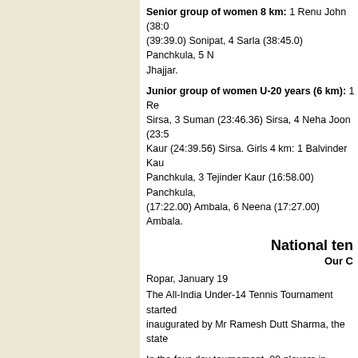Senior group of women 8 km: 1 Renu John (38:0... (39:39.0) Sonipat, 4 Sarla (38:45.0) Panchkula, 5 N... Jhajjar.
Junior group of women U-20 years (6 km): 1 Re... Sirsa, 3 Suman (23:46.36) Sirsa, 4 Neha Joon (23:5... Kaur (24:39.56) Sirsa. Girls 4 km: 1 Balvinder Kau... Panchkula, 3 Tejinder Kaur (16:58.00) Panchkula, ... (17:22.00) Ambala, 6 Neena (17:27.00) Ambala.
National ten...
Our C...
Ropar, January 19
The All-India Under-14 Tennis Tournament started... inaugurated by Mr Ramesh Dutt Sharma, the state ...
In the four-day tournament, 80 players in men's an...
Results: Nishant Kumar of Chandigarh b Lakshay... Jaivardhan Gupta of Chandigarh (8-2), Vijay Bhar... Singh of Punjab b Aneesh of Rajasthan (8-2), Abhj... (8-1), Avesh Singh Kang of Chandigarh b Munish ... Chandigarh b Archit of Haryana (8-2) and Ujjwal c...